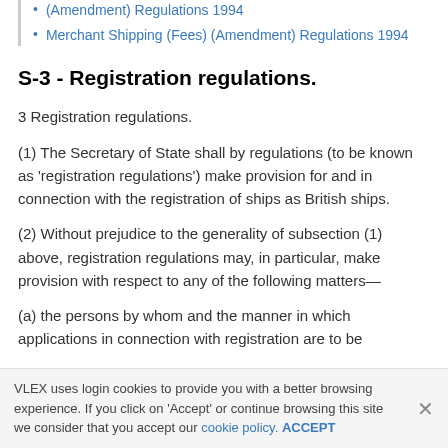(Amendment) Regulations 1994
Merchant Shipping (Fees) (Amendment) Regulations 1994
S-3 - Registration regulations.
3 Registration regulations.
(1) The Secretary of State shall by regulations (to be known as 'registration regulations') make provision for and in connection with the registration of ships as British ships.
(2) Without prejudice to the generality of subsection (1) above, registration regulations may, in particular, make provision with respect to any of the following matters—
(a) the persons by whom and the manner in which applications in connection with registration are to be
VLEX uses login cookies to provide you with a better browsing experience. If you click on 'Accept' or continue browsing this site we consider that you accept our cookie policy. ACCEPT